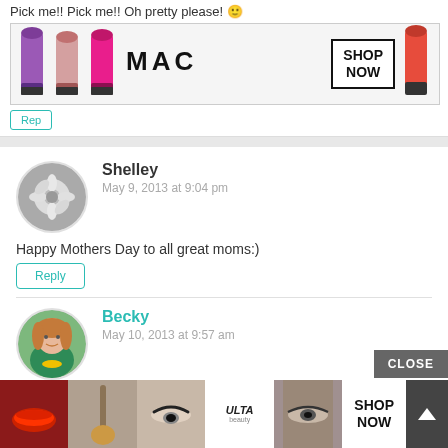Pick me!! Pick me!! Oh pretty please! 🙂
[Figure (screenshot): MAC cosmetics advertisement banner with colorful lipsticks, MAC logo, and SHOP NOW button]
[Figure (screenshot): Reply button (partially visible)]
Shelley
May 9, 2013 at 9:04 pm
Happy Mothers Day to all great moms:)
Reply
Becky
May 10, 2013 at 9:57 am
Happy Mother's Day to you Shelley! 🙂
Reply
[Figure (screenshot): ULTA beauty advertisement banner at the bottom with makeup images, ULTA logo, SHOP NOW button and CLOSE button]